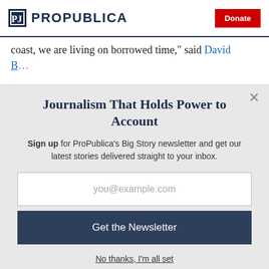ProPublica | Donate
coast, we are living on borrowed time," said David [link continues]
Journalism That Holds Power to Account
Sign up for ProPublica's Big Story newsletter and get our latest stories delivered straight to your inbox.
you@example.com
Get the Newsletter
No thanks, I'm all set
This site is protected by reCAPTCHA and the Google Privacy Policy and Terms of Service apply.